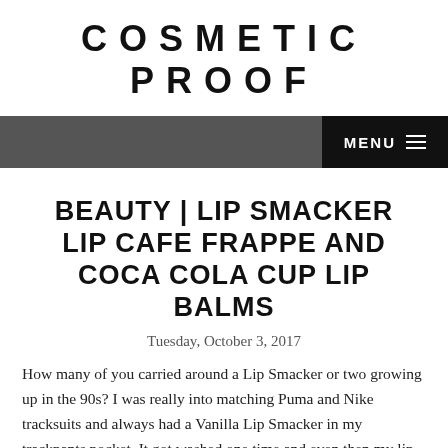COSMETIC PROOF
BEAUTY | LIP SMACKER LIP CAFE FRAPPE AND COCA COLA CUP LIP BALMS
Tuesday, October 3, 2017
How many of you carried around a Lip Smacker or two growing up in the 90s? I was really into matching Puma and Nike tracksuits and always had a Vanilla Lip Smacker in my trackpants pocket. It got washed one time and even then my lip balm (and pants)